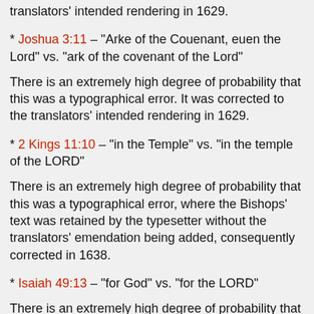translators' intended rendering in 1629.
* Joshua 3:11 – “Arke of the Couenant, euen the Lord” vs. “ark of the covenant of the Lord”
There is an extremely high degree of probability that this was a typographical error. It was corrected to the translators’ intended rendering in 1629.
* 2 Kings 11:10 – “in the Temple” vs. “in the temple of the LORD”
There is an extremely high degree of probability that this was a typographical error, where the Bishops’ text was retained by the typesetter without the translators’ emendation being added, consequently corrected in 1638.
* Isaiah 49:13 – “for God” vs. “for the LORD”
There is an extremely high degree of probability that this was a typographical/copyist error, where the Bishops’ text was retained by the typesetter without the translators’ emendation being taken, consequently corrected in 1638.
* Jeremiah 31:14 – “with goodnesse” vs. “with my